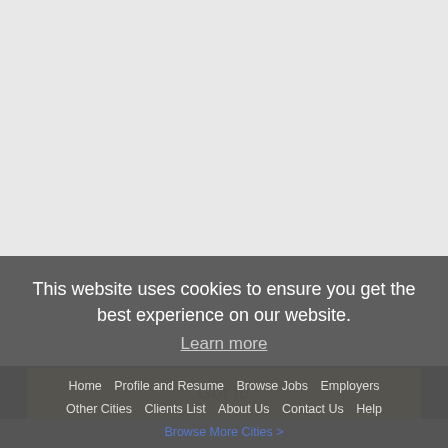Sitemap
Legal
Privacy
NEARBY CITIES
Cheektowaga, NY Jobs
Erie, PA Jobs
Irondequoit, NY Jobs
Niagara Falls, NY Jobs
Rochester, NY Jobs
Tonawanda, NY Jobs
West Seneca, NY Jobs
This website uses cookies to ensure you get the best experience on our website. Learn more
Got it!
Home   Profile and Resume   Browse Jobs   Employers   Other Cities   Clients List   About Us   Contact Us   Help